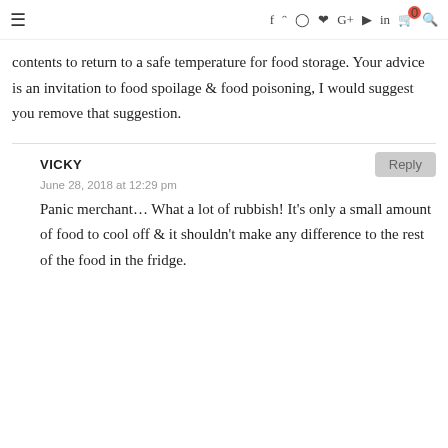≡  f  Twitter  Instagram  Pinterest  G+  YouTube  in  Cart(0)  Search
contents to return to a safe temperature for food storage. Your advice is an invitation to food spoilage & food poisoning, I would suggest you remove that suggestion.
VICKY
June 28, 2018 at 12:29 pm
Panic merchant… What a lot of rubbish! It's only a small amount of food to cool off & it shouldn't make any difference to the rest of the food in the fridge.